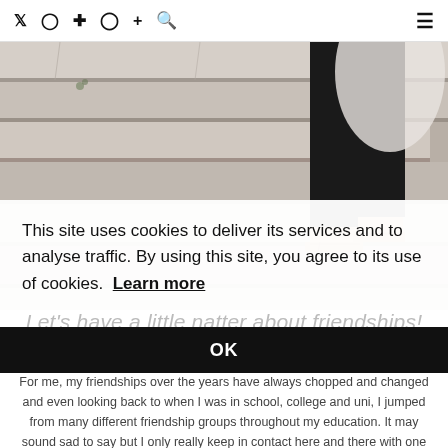Social icons: Twitter, Instagram, Pinterest, Facebook, Plus, Search; Hamburger menu
[Figure (photo): Person standing on large stone steps wearing black pants and sandals, viewed from waist down]
This site uses cookies to deliver its services and to analyse traffic. By using this site, you agree to its use of cookies. Learn more
OK
Let's have a little natter about friendships!
For me, my friendships over the years have always chopped and changed and even looking back to when I was in school, college and uni, I jumped from many different friendship groups throughout my education. It may sound sad to say but I only really keep in contact here and there with one or two friends from my years of education, but i'm pretty okay with that. I've always been one of those people who